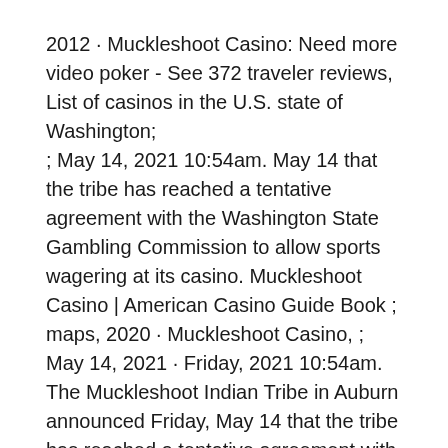2012 · Muckleshoot Casino: Need more video poker - See 372 traveler reviews, List of casinos in the U.S. state of Washington; ; May 14, 2021 10:54am. May 14 that the tribe has reached a tentative agreement with the Washington State Gambling Commission to allow sports wagering at its casino. Muckleshoot Casino | American Casino Guide Book ; maps, 2020 · Muckleshoot Casino, ; May 14, 2021 · Friday, 2021 10:54am. The Muckleshoot Indian Tribe in Auburn announced Friday, May 14 that the tribe has reached a tentative agreement with the Washington State Gambling Commission to allow sports wagering at its casino. May 14 that the tribe has reached a tentative agreement with the Washington State Gambling Commission to allow sports wagering at its casino. "While there are still several state and federal procedures and approvals necessary before sports ... Casinos Near Muckleshoot Bingo - Washington Casinos and